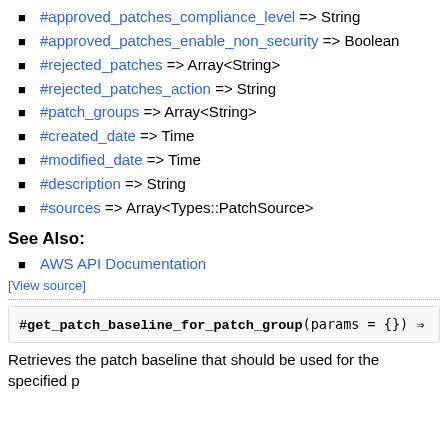#approved_patches_compliance_level => String
#approved_patches_enable_non_security => Boolean
#rejected_patches => Array<String>
#rejected_patches_action => String
#patch_groups => Array<String>
#created_date => Time
#modified_date => Time
#description => String
#sources => Array<Types::PatchSource>
See Also:
AWS API Documentation
[View source]
#get_patch_baseline_for_patch_group(params = {}) =>
Retrieves the patch baseline that should be used for the specified p